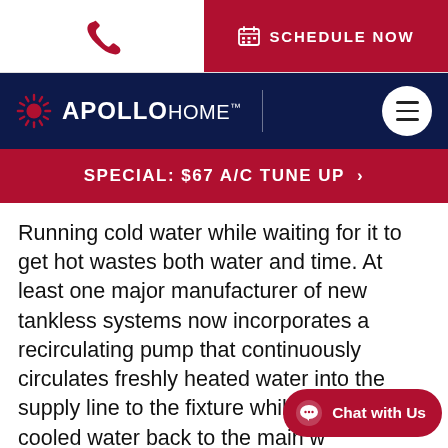[Figure (logo): Phone icon (call button) on white background]
[Figure (logo): Schedule Now button with calendar icon on red background]
[Figure (logo): Apollo Home logo with sunburst icon on dark navy background, hamburger menu button]
SPECIAL: $67 A/C TUNE UP >
Running cold water while waiting for it to get hot wastes both water and time. At least one major manufacturer of new tankless systems now incorporates a recirculating pump that continuously circulates freshly heated water into the supply line to the fixture while diverting cooled water back to the main w... result: instant hot water with no lag time every
[Figure (other): Chat with Us button overlay in red pill shape]